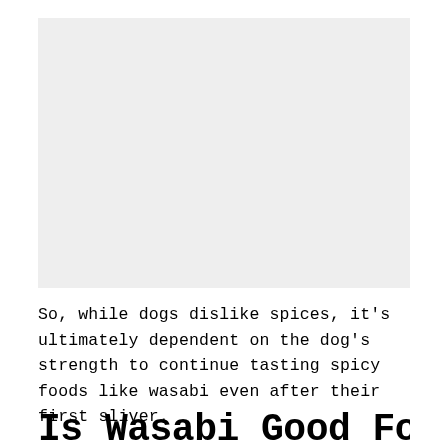[Figure (photo): A large light gray rectangular placeholder image area occupying the upper portion of the page.]
So, while dogs dislike spices, it's ultimately dependent on the dog's strength to continue tasting spicy foods like wasabi even after their first sliver.
Is Wasabi Good For Do…